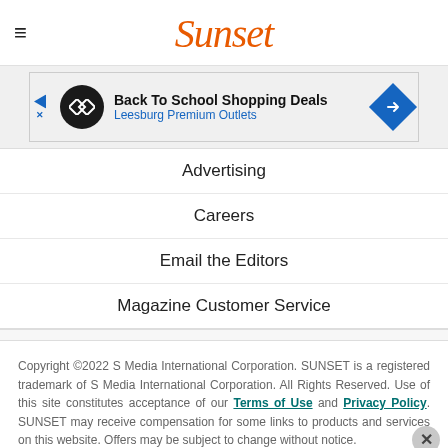Sunset
[Figure (infographic): Advertisement banner: Back To School Shopping Deals - Leesburg Premium Outlets]
Advertising
Careers
Email the Editors
Magazine Customer Service
Copyright ©2022 S Media International Corporation. SUNSET is a registered trademark of S Media International Corporation. All Rights Reserved. Use of this site constitutes acceptance of our Terms of Use and Privacy Policy. SUNSET may receive compensation for some links to products and services on this website. Offers may be subject to change without notice.